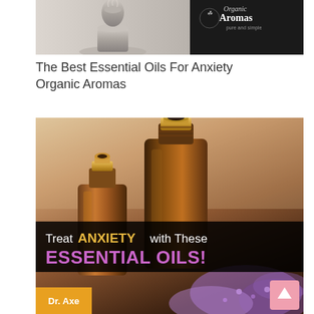[Figure (photo): Top portion of a product image showing an essential oil diffuser in beige/gray with the Organic Aromas logo (pure and simple) on a dark background]
The Best Essential Oils For Anxiety Organic Aromas
[Figure (infographic): Photo of two amber glass essential oil bottles with purple lavender flowers in the background. Dark banner overlay reads: Treat ANXIETY with These ESSENTIAL OILS! Dr. Axe badge in bottom left corner. Pink scroll-to-top button in bottom right.]